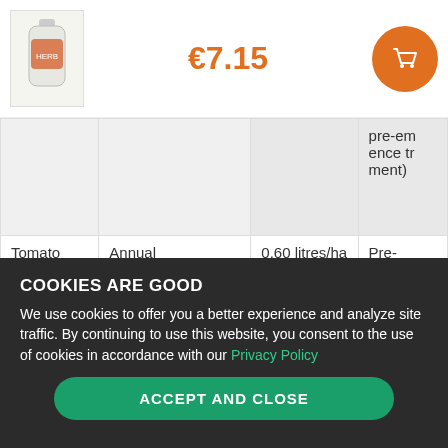€7.15
|  |  |  | pre-emergence treatment) |
| --- | --- | --- | --- |
| Tomato (transplanted) | Annual monocotyledonous and dicotyledonous weeds | 0,60 litres/ha | Pre-emerge |
COOKIES ARE GOOD
We use cookies to offer you a better experience and analyze site traffic. By continuing to use this website, you consent to the use of cookies in accordance with our Privacy Policy
ACCEPT AND CLOSE